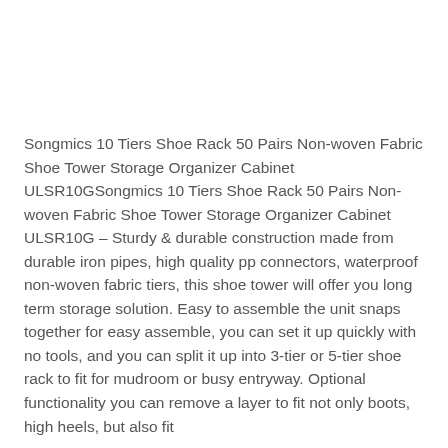Songmics 10 Tiers Shoe Rack 50 Pairs Non-woven Fabric Shoe Tower Storage Organizer Cabinet ULSR10GSongmics 10 Tiers Shoe Rack 50 Pairs Non-woven Fabric Shoe Tower Storage Organizer Cabinet ULSR10G – Sturdy & durable construction made from durable iron pipes, high quality pp connectors, waterproof non-woven fabric tiers, this shoe tower will offer you long term storage solution. Easy to assemble the unit snaps together for easy assemble, you can set it up quickly with no tools, and you can split it up into 3-tier or 5-tier shoe rack to fit for mudroom or busy entryway. Optional functionality you can remove a layer to fit not only boots, high heels, but also fit